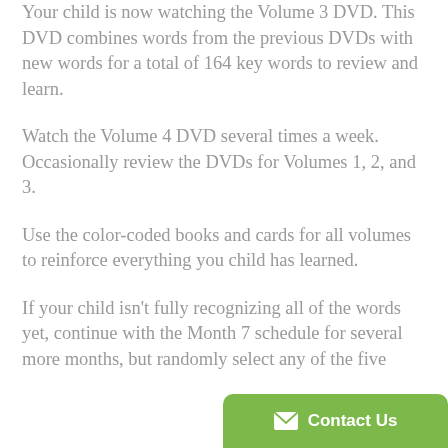Your child is now watching the Volume 3 DVD. This DVD combines words from the previous DVDs with new words for a total of 164 key words to review and learn.
Watch the Volume 4 DVD several times a week. Occasionally review the DVDs for Volumes 1, 2, and 3.
Use the color-coded books and cards for all volumes to reinforce everything you child has learned.
If your child isn't fully recognizing all of the words yet, continue with the Month 7 schedule for several more months, but randomly select any of the five